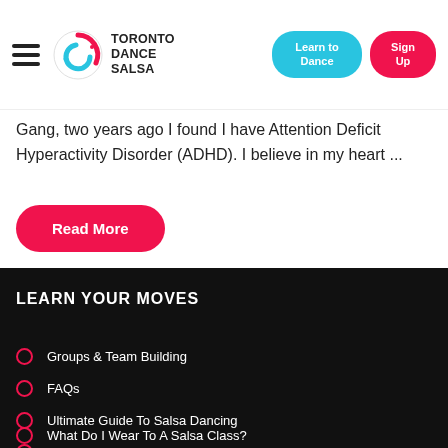Toronto Dance Salsa — navigation bar with Learn to Dance and Sign Up buttons
Gang, two years ago I found I have Attention Deficit Hyperactivity Disorder (ADHD). I believe in my heart ...
Read More
LEARN YOUR MOVES
Groups & Team Building
FAQs
Ultimate Guide To Salsa Dancing
What Can You Expect From Your First Class?
What Do I Wear To A Salsa Class?